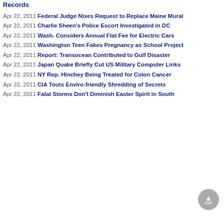Records
Apr 22, 2011 Federal Judge Nixes Request to Replace Maine Mural
Apr 22, 2011 Charlie Sheen's Police Escort Investigated in DC
Apr 22, 2011 Wash. Considers Annual Flat Fee for Electric Cars
Apr 22, 2011 Washington Teen Fakes Pregnancy as School Project
Apr 22, 2011 Report: Transocean Contributed to Gulf Disaster
Apr 22, 2011 Japan Quake Briefly Cut US Military Computer Links
Apr 22, 2011 NY Rep. Hinchey Being Treated for Colon Cancer
Apr 22, 2011 CIA Touts Enviro-friendly Shredding of Secrets
Apr 22, 2011 Fatal Storms Don't Diminish Easter Spirit in South